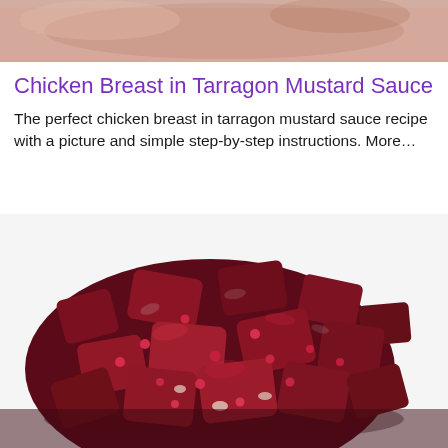[Figure (photo): Partial view of a dish — top crop of a food photo, showing what appears to be a chicken or meat dish with sauce, cropped at the top of the page.]
Chicken Breast in Tarragon Mustard Sauce
The perfect chicken breast in tarragon mustard sauce recipe with a picture and simple step-by-step instructions. More…
[Figure (photo): A large pile of chopped beetroot pieces glazed with a dark sauce, with pink/red peppercorns scattered throughout, on a white background.]